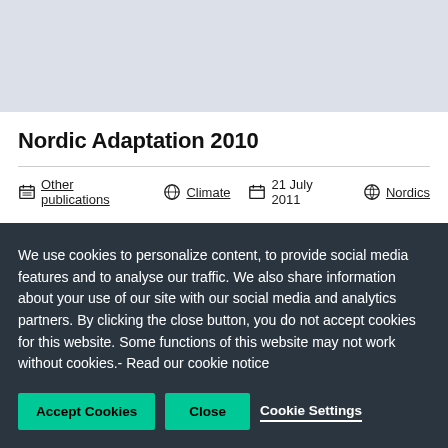[Figure (other): Light blue-grey header image area placeholder]
Nordic Adaptation 2010
Other publications  Climate  21 July 2011  Nordics
We use cookies to personalize content, to provide social media features and to analyse our traffic. We also share information about your use of our site with our social media and analytics partners. By clicking the close button, you do not accept cookies for this website. Some functions of this website may not work without cookies.- Read our cookie notice
Accept Cookies  Close  Cookie Settings